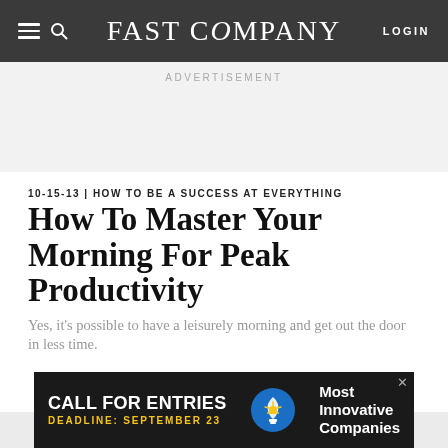FAST COMPANY — LOGIN
ADVERTISEMENT
10-15-13 | HOW TO BE A SUCCESS AT EVERYTHING
How To Master Your Morning For Peak Productivity
Yes, it's possible to have a leisurely morning and get out the door in less time.
[Figure (other): Advertisement banner: CALL FOR ENTRIES — DEADLINE: SEPTEMBER 23 — Most Innovative Companies, with lightbulb icon]